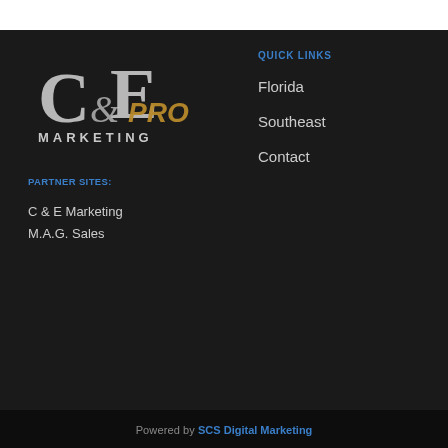[Figure (logo): C&E Pro Marketing logo — stylized C&E letters with 'PRO' in gold and 'MARKETING' beneath, white/grey on dark background]
PARTNER SITES:
C & E Marketing
M.A.G. Sales
QUICK LINKS
Florida
Southeast
Contact
Powered by SCS Digital Marketing